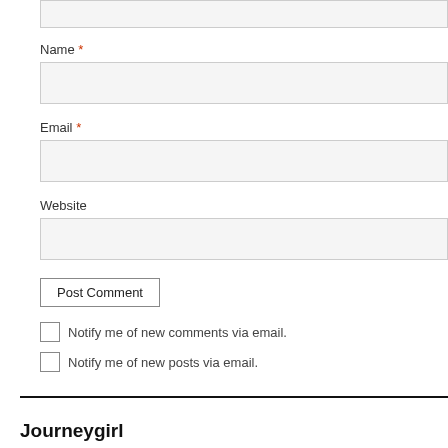Name *
Email *
Website
Post Comment
Notify me of new comments via email.
Notify me of new posts via email.
Journeygirl